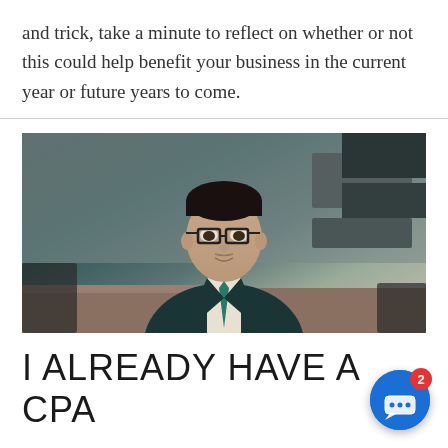and trick, take a minute to reflect on whether or not this could help benefit your business in the current year or future years to come.
[Figure (photo): Professional man in a dark teal suit and tie, wearing glasses, seated at a desk in a modern office environment, looking at camera]
I ALREADY HAVE A CPA
Almost all the clients we've helped already ha... bookkeeper, accountant, or CPA; some are even their